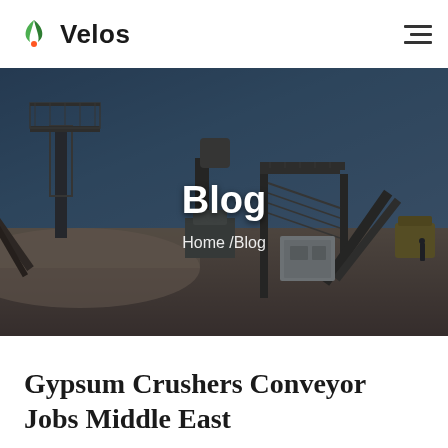Velos
[Figure (photo): Industrial mining/crushing facility with conveyor belts, metal scaffolding, staircases, and heavy machinery against a blue desert sky. Dark overlay applied. Centered text overlay reads 'Blog' with breadcrumb 'Home / Blog'.]
Gypsum Crushers Conveyor Jobs Middle East